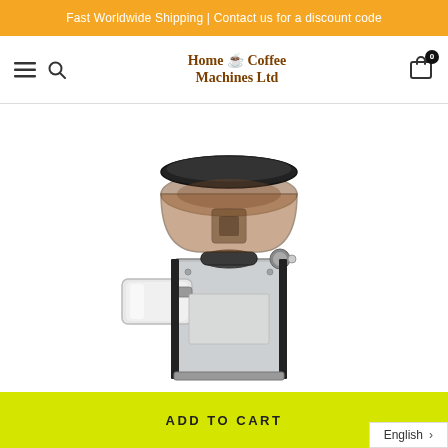Fast Worldwide Shipping | Contact us for a discount code
[Figure (logo): Home Coffee Machines Ltd logo with coffee cup icon]
[Figure (photo): Silver and black espresso coffee grinder with transparent brown bean hopper on top and chrome portafilter holder on the side]
ADD TO CART
English >